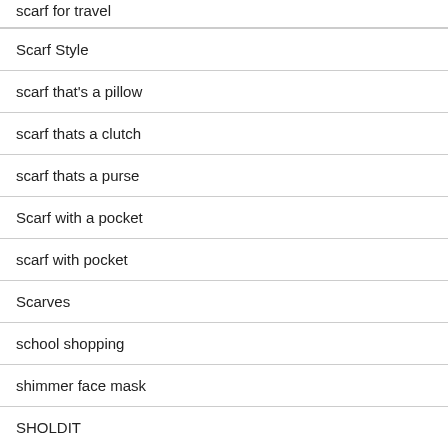Scarf Style
scarf that's a pillow
scarf thats a clutch
scarf thats a purse
Scarf with a pocket
scarf with pocket
Scarves
school shopping
shimmer face mask
SHOLDIT